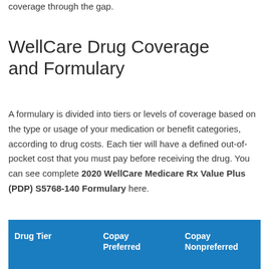coverage through the gap.
WellCare Drug Coverage and Formulary
A formulary is divided into tiers or levels of coverage based on the type or usage of your medication or benefit categories, according to drug costs. Each tier will have a defined out-of-pocket cost that you must pay before receiving the drug. You can see complete 2020 WellCare Medicare Rx Value Plus (PDP) S5768-140 Formulary here.
| Drug Tier | Copay Preferred | Copay Nonpreferred |
| --- | --- | --- |